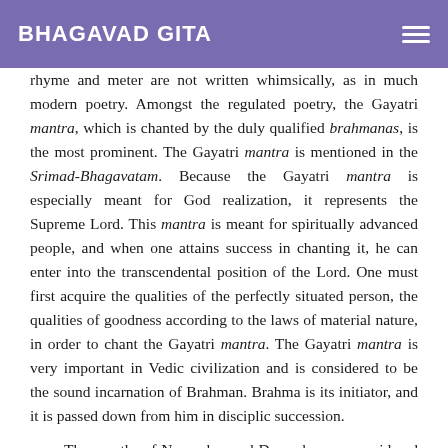BHAGAVAD GITA
rhyme and meter are not written whimsically, as in much modern poetry. Amongst the regulated poetry, the Gayatri mantra, which is chanted by the duly qualified brahmanas, is the most prominent. The Gayatri mantra is mentioned in the Srimad-Bhagavatam. Because the Gayatri mantra is especially meant for God realization, it represents the Supreme Lord. This mantra is meant for spiritually advanced people, and when one attains success in chanting it, he can enter into the transcendental position of the Lord. One must first acquire the qualities of the perfectly situated person, the qualities of goodness according to the laws of material nature, in order to chant the Gayatri mantra. The Gayatri mantra is very important in Vedic civilization and is considered to be the sound incarnation of Brahman. Brahma is its initiator, and it is passed down from him in disciplic succession.
The months of November and December are considered the best of all months because in India grains are collected from the fields at this time, and the people become very happy. Of course spring is a season universally liked because it is neither too hot